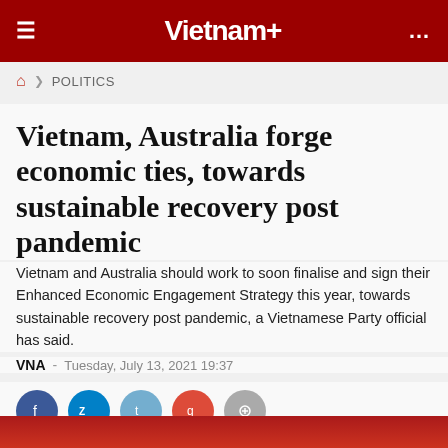Vietnam+
POLITICS
Vietnam, Australia forge economic ties, towards sustainable recovery post pandemic
Vietnam and Australia should work to soon finalise and sign their Enhanced Economic Engagement Strategy this year, towards sustainable recovery post pandemic, a Vietnamese Party official has said.
VNA - Tuesday, July 13, 2021 19:37
[Figure (other): Social sharing icons: Facebook, Zalo, Twitter, Google+, Blogger]
[Figure (photo): Partially visible red image at bottom of page]